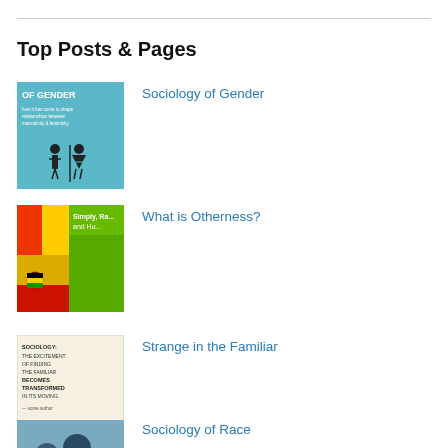Top Posts & Pages
Sociology of Gender
[Figure (illustration): Book cover for Sociology of Gender — light blue background with male and female stick figure icons and text]
What is Otherness?
[Figure (illustration): Book cover for What is Otherness — colorful cover with red, green, yellow design and Ghana flag imagery]
Strange in the Familiar
[Figure (illustration): Book cover for Strange in the Familiar — light tan background with text: SOCIOLOGY: THE EXCITEMENT OF FINDING THE FAMILIAR BECOMES TRANSFORMED IN ITS MOVING.]
Sociology of Race
[Figure (illustration): Book cover for Sociology of Race — photo of people with red banner at bottom reading SOCIOLOGY OF RACE]